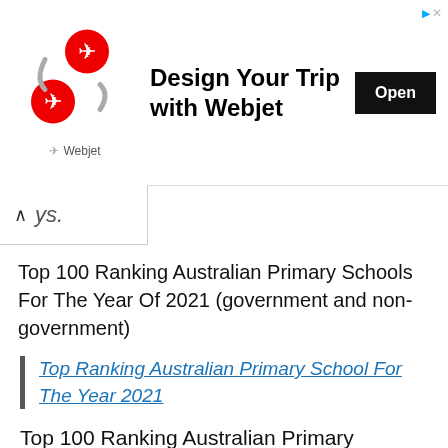[Figure (other): Webjet travel app advertisement banner with red arrow logo icons, text 'Design Your Trip with Webjet', and an 'Open' button]
ys.
Top 100 Ranking Australian Primary Schools For The Year Of 2021 (government and non-government)
Top Ranking Australian Primary School For The Year 2021
Top 100 Ranking Australian Primary Schools For The Year Of 2021 (government/public)
ustralian Primary Of